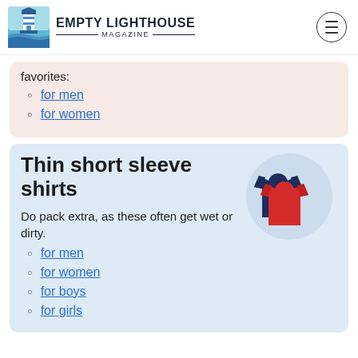EMPTY LIGHTHOUSE MAGAZINE
favorites:
for men
for women
Thin short sleeve shirts
[Figure (photo): Two t-shirts (navy blue and red) overlapping, displayed in a circular crop on a light blue background.]
Do pack extra, as these often get wet or dirty.
for men
for women
for boys
for girls